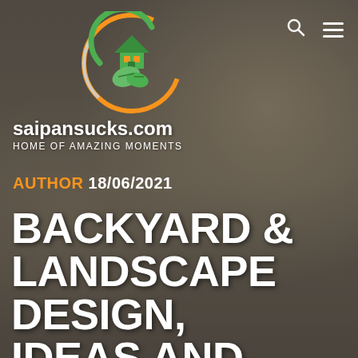[Figure (logo): Circular logo with orange outer ring, green crescent inner ring, green house icon with orange windows, green leaf shape. Website logo for saipansucks.com]
[Figure (photo): Background photo of a bright home interior with dining table, chairs, large windows with wooden blinds, flower vase, pendant lamp. Semi-transparent dark overlay applied.]
saipansucks.com HOME OF AMAZING MOMENTS
AUTHOR 18/06/2021
BACKYARD & LANDSCAPE DESIGN, IDEAS AND IDEAS